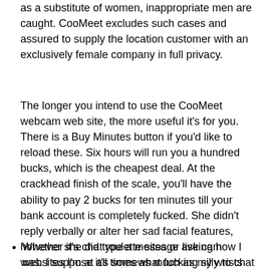as a substitute of women, inappropriate men are caught. CooMeet excludes such cases and assured to supply the location customer with an exclusively female company in full privacy.
The longer you intend to use the CooMeet webcam web site, the more useful it's for you. There is a Buy Minutes button if you'd like to reload these. Six hours will run you a hundred bucks, which is the cheapest deal. At the crackhead finish of the scale, you'll have the ability to pay 2 bucks for ten minutes till your bank account is completely fucked. She didn't reply verbally or alter her sad facial features, however she did type a message asking how I was. I suppose it's somewhat fucking silly to chat by way of textual content when you're both linked through a microphone, but what the fuck do I know?
Whether it's chat roulette sites or live cam websites I'm at all times as much as my wrists testing and trying out all the